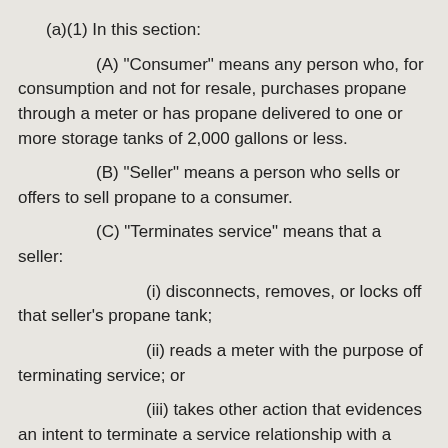(a)(1) In this section:
(A) "Consumer" means any person who, for consumption and not for resale, purchases propane through a meter or has propane delivered to one or more storage tanks of 2,000 gallons or less.
(B) "Seller" means a person who sells or offers to sell propane to a consumer.
(C) "Terminates service" means that a seller:
(i) disconnects, removes, or locks off that seller's propane tank;
(ii) reads a meter with the purpose of terminating service; or
(iii) takes other action that evidences an intent to terminate a service relationship with a